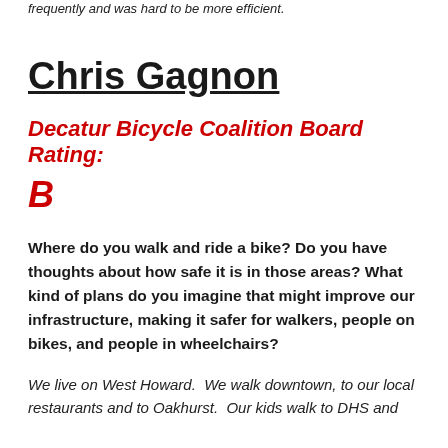frequently and was hard to be more efficient.
Chris Gagnon
Decatur Bicycle Coalition Board Rating: B
Where do you walk and ride a bike? Do you have thoughts about how safe it is in those areas? What kind of plans do you imagine that might improve our infrastructure, making it safer for walkers, people on bikes, and people in wheelchairs?
We live on West Howard.  We walk downtown, to our local restaurants and to Oakhurst.  Our kids walk to DHS and